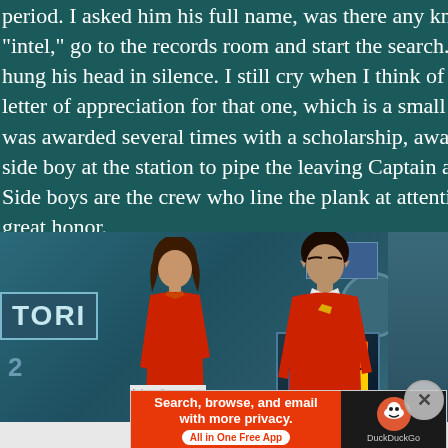period. I asked him his full name, was there any known missp... "intel," go to the records room and start the search... yup, unc... hung his head in silence. I still cry when I think of how happy... letter of appreciation for that one, which is a small Navy awar... was awarded several times with a scholarship, award letters, a... side boy at the station to pipe the leaving Captain away and pi... Side boys are the crew who line the plank at attention and on... great honor.
[Figure (screenshot): Screenshot from a Star Trek episode showing two figures in red uniforms in a ship corridor. A 'TORP' panel label is visible on the left. One figure appears female with dark hair, the other male (Spock-like). A display screen and blue sign panel visible on right.]
Advertisements
[Figure (screenshot): DuckDuckGo advertisement banner. Left orange panel reads: 'Search, browse, and email with more privacy. All in One Free App'. Right black panel shows DuckDuckGo duck logo and name.]